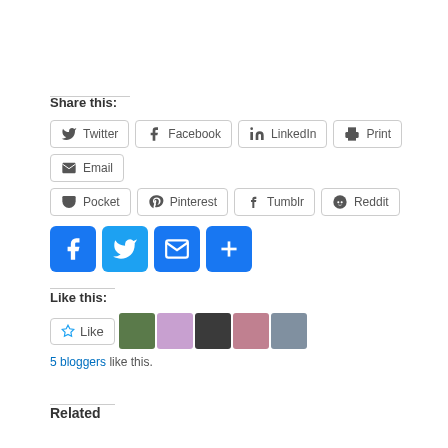Share this:
[Figure (screenshot): Social share buttons: Twitter, Facebook, LinkedIn, Print, Email, Pocket, Pinterest, Tumblr, Reddit]
[Figure (screenshot): Four blue social media icon buttons: Facebook, Twitter, Email, Plus/More]
Like this:
[Figure (screenshot): Like button widget with star icon and 5 blogger avatar thumbnails]
5 bloggers like this.
Related